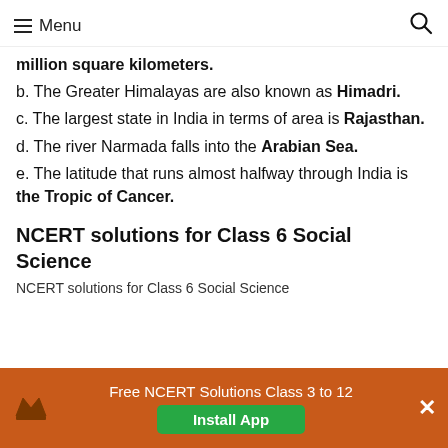Menu
million square kilometers.
b. The Greater Himalayas are also known as Himadri.
c. The largest state in India in terms of area is Rajasthan.
d. The river Narmada falls into the Arabian Sea.
e. The latitude that runs almost halfway through India is the Tropic of Cancer.
NCERT solutions for Class 6 Social Science
NCERT solutions for Class 6 Social Science
Free NCERT Solutions Class 3 to 12 Install App